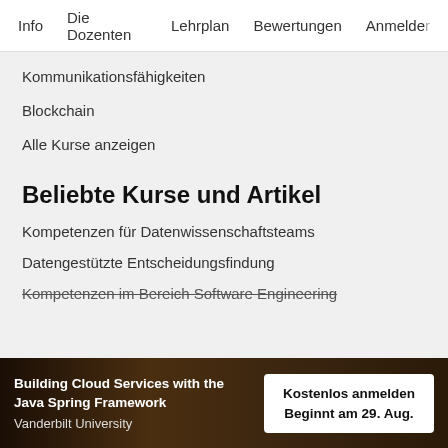Info   Die Dozenten   Lehrplan   Bewertungen   Anmelden
Kommunikationsfähigkeiten
Blockchain
Alle Kurse anzeigen
Beliebte Kurse und Artikel
Kompetenzen für Datenwissenschaftsteams
Datengestützte Entscheidungsfindung
Kompetenzen im Bereich Software Engineering
Building Cloud Services with the Java Spring Framework
Vanderbilt University
Kostenlos anmelden
Beginnt am 29. Aug.